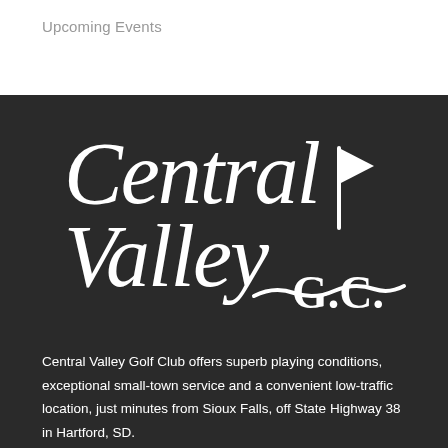Upcoming Events
[Figure (logo): Central Valley G.C. golf club logo — white serif text on dark background with a golf flag icon]
Central Valley Golf Club offers superb playing conditions, exceptional small-town service and a convenient low-traffic location, just minutes from Sioux Falls, off State Highway 38 in Hartford, SD.